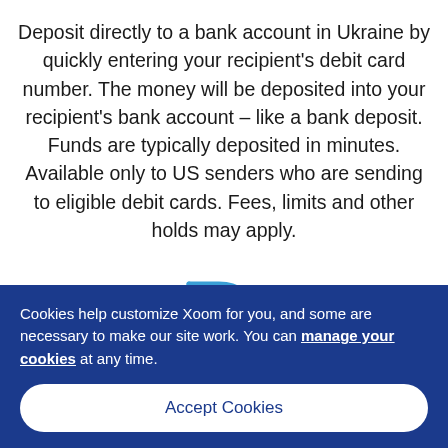Deposit directly to a bank account in Ukraine by quickly entering your recipient's debit card number. The money will be deposited into your recipient's bank account – like a bank deposit. Funds are typically deposited in minutes. Available only to US senders who are sending to eligible debit cards. Fees, limits and other holds may apply.
[Figure (logo): PayPal double-P logo outline in blue]
Cookies help customize Xoom for you, and some are necessary to make our site work. You can manage your cookies at any time.
Accept Cookies